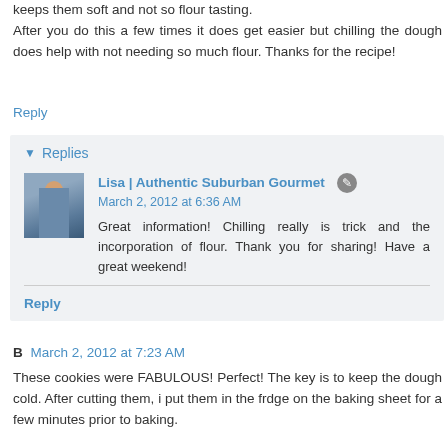keeps them soft and not so flour tasting. After you do this a few times it does get easier but chilling the dough does help with not needing so much flour. Thanks for the recipe!
Reply
Replies
Lisa | Authentic Suburban Gourmet
March 2, 2012 at 6:36 AM
Great information! Chilling really is trick and the incorporation of flour. Thank you for sharing! Have a great weekend!
Reply
B  March 2, 2012 at 7:23 AM
These cookies were FABULOUS! Perfect! The key is to keep the dough cold. After cutting them, i put them in the frdge on the baking sheet for a few minutes prior to baking.